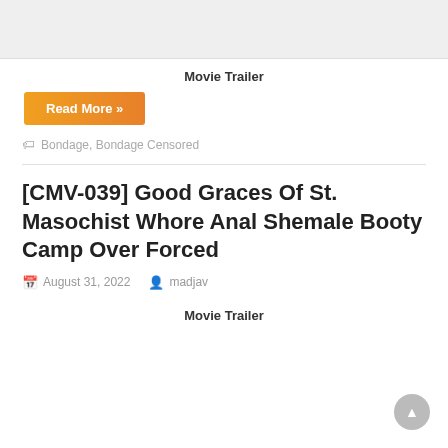[Figure (screenshot): Partially visible thumbnail image at top of page]
Movie Trailer
Read More »
Bondage, Bondage Censored
[CMV-039] Good Graces Of St. Masochist Whore Anal Shemale Booty Camp Over Forced
August 31, 2022  madjav
Movie Trailer